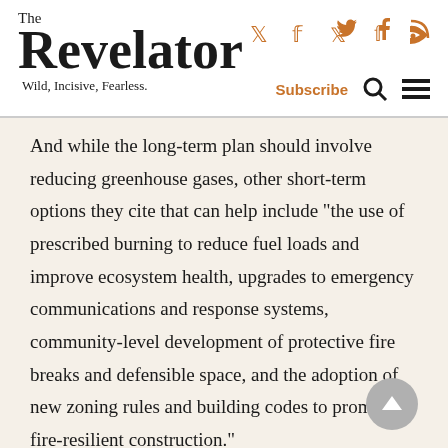The Revelator — Wild, Incisive, Fearless.
And while the long-term plan should involve reducing greenhouse gases, other short-term options they cite that can help include “the use of prescribed burning to reduce fuel loads and improve ecosystem health, upgrades to emergency communications and response systems, community-level development of protective fire breaks and defensible space, and the adoption of new zoning rules and building codes to promote fire-resilient construction.”